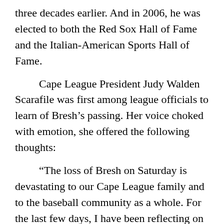three decades earlier. And in 2006, he was elected to both the Red Sox Hall of Fame and the Italian-American Sports Hall of Fame.
Cape League President Judy Walden Scarafile was first among league officials to learn of Bresh's passing. Her voice choked with emotion, she offered the following thoughts:
“The loss of Bresh on Saturday is devastating to our Cape League family and to the baseball community as a whole. For the last few days, I have been reflecting on his immeasurable contributions to our league, a league he helped to mold and shape and one for which he had a great passion. In the 50 years Bresh was involved with the Cape League, we saw so many new programs, ideas, upgrades and changes. It was always for the better, always to make the league